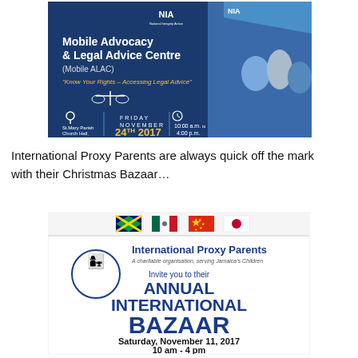[Figure (infographic): NIA Mobile Advocacy & Legal Advice Centre (Mobile ALAC) promotional banner. Blue background with NIA logo, scales of justice icon. Text: 'Know Your Rights – Accessing Legal Advice'. Location: St. Mary Parish Church Hall, Port Maria, St. Mary. Date: Friday November 24TH 2017. Time: 10:00 a.m. to 4:00 p.m. Right side shows a photo of people at an outdoor event under a blue tent.]
International Proxy Parents are always quick off the mark with their Christmas Bazaar…
[Figure (infographic): International Proxy Parents Annual International Bazaar flyer. Top row of country flags (Jamaica, Mexico, China, Japan). Logo with mother and child. Text: 'International Proxy Parents – A charitable organisation, serving Jamaica's Children'. 'Invite you to their ANNUAL INTERNATIONAL BAZAAR'. Date: Saturday, November 11, 2017. Time: 10 am - 4 pm.]